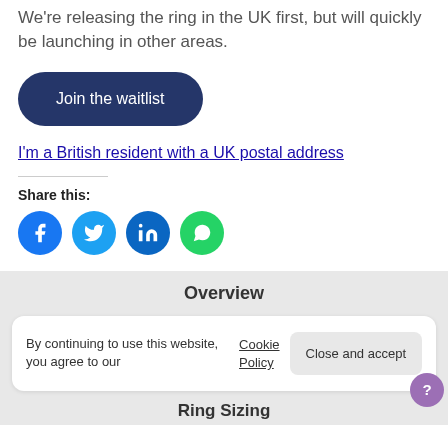We're releasing the ring in the UK first, but will quickly be launching in other areas.
Join the waitlist
I'm a British resident with a UK postal address
Share this:
[Figure (infographic): Four social media share buttons: Facebook (blue circle), Twitter (light blue circle), LinkedIn (dark blue circle), WhatsApp (green circle)]
Overview
By continuing to use this website, you agree to our Cookie Policy Close and accept
Ring Sizing